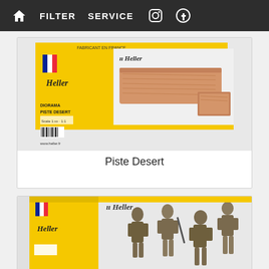FILTER  SERVICE
[Figure (photo): Heller model kit box for Diorama Piste Desert showing a wooden terrain base with wood grain texture, yellow box packaging with French flag and Heller logo]
Piste Desert
[Figure (photo): Heller model kit box showing military soldiers figures, yellow packaging with Heller logo, figures appear to be WWII infantry soldiers in action poses]